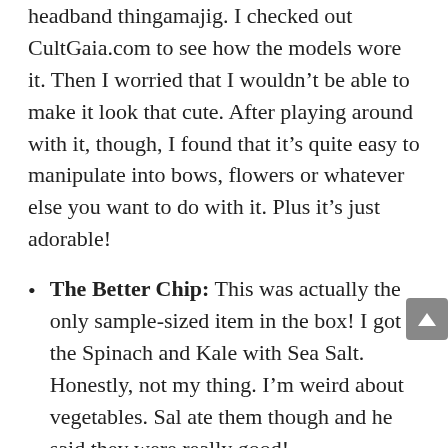headband thingamajig. I checked out CultGaia.com to see how the models wore it. Then I worried that I wouldn't be able to make it look that cute. After playing around with it, though, I found that it's quite easy to manipulate into bows, flowers or whatever else you want to do with it. Plus it's just adorable!
The Better Chip: This was actually the only sample-sized item in the box! I got the Spinach and Kale with Sea Salt. Honestly, not my thing. I'm weird about vegetables. Sal ate them though and he said they were really good!
Everything in my FabFitFun box was, well